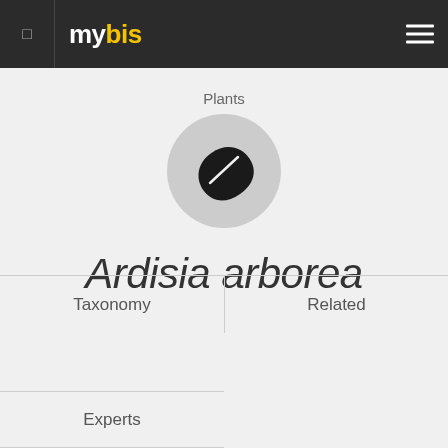mybis
Plants
[Figure (illustration): Gray circle with a black leaf icon in the center, representing a plant placeholder image]
Ardisia arborea
Taxonomy
Related
Experts